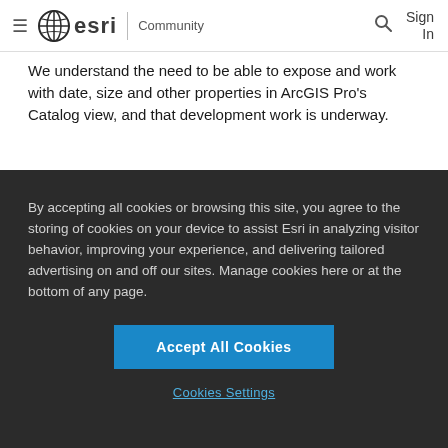esri Community
We understand the need to be able to expose and work with date, size and other properties in ArcGIS Pro's Catalog view, and that development work is underway.
By accepting all cookies or browsing this site, you agree to the storing of cookies on your device to assist Esri in analyzing visitor behavior, improving your experience, and delivering tailored advertising on and off our sites. Manage cookies here or at the bottom of any page.
Accept All Cookies
Cookies Settings
If you've already registered, sign in. Otherwise,